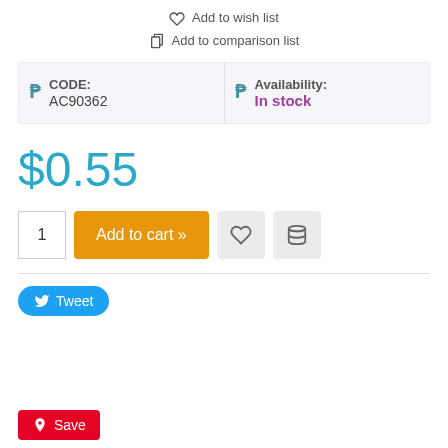Add to wish list
Add to comparison list
| CODE: | Availability: |
| --- | --- |
| AC90362 | In stock |
$0.55
1  Add to cart »
Tweet
Save